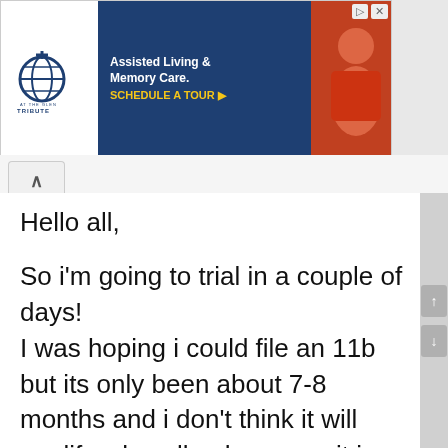[Figure (screenshot): Advertisement banner for Tribute at the Glen - Assisted Living & Memory Care with Schedule A Tour call to action]
Hello all,
So i'm going to trial in a couple of days!
I was hoping i could file an 11b but its only been about 7-8 months and i don't think it will qualify. oh well.... however, it is more than 6 months so they can not change the